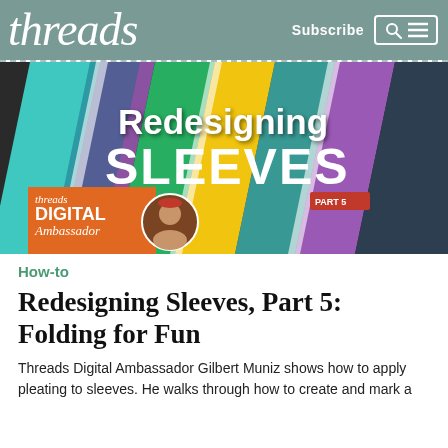threads  Subscribe
[Figure (screenshot): Thumbnail image for 'Redesigning Sleeves Part 5' video, showing colorful diagonal fabric strips in teal, yellow, green, purple with bold white text 'Redesigning SLEEVES' and a Threads Digital Ambassador badge with person's photo.]
How-to
Redesigning Sleeves, Part 5: Folding for Fun
Threads Digital Ambassador Gilbert Muniz shows how to apply pleating to sleeves. He walks through how to create and mark a